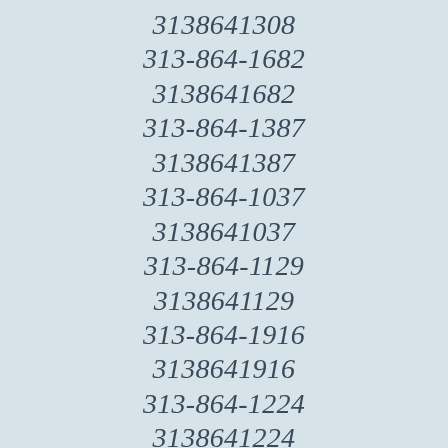3138641308
313-864-1682
3138641682
313-864-1387
3138641387
313-864-1037
3138641037
313-864-1129
3138641129
313-864-1916
3138641916
313-864-1224
3138641224
313-864-1023
3138641023
313-864-1459